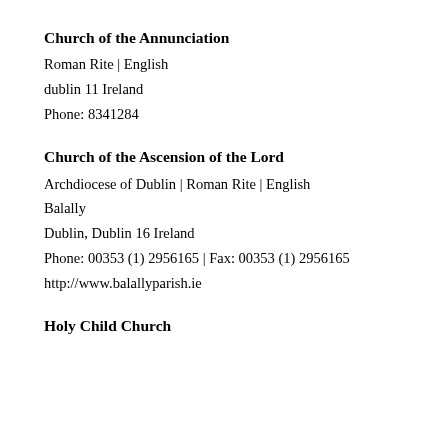Church of the Annunciation
Roman Rite | English
dublin 11 Ireland
Phone: 8341284
Church of the Ascension of the Lord
Archdiocese of Dublin | Roman Rite | English
Balally
Dublin, Dublin 16 Ireland
Phone: 00353 (1) 2956165 | Fax: 00353 (1) 2956165
http://www.balallyparish.ie
Holy Child Church